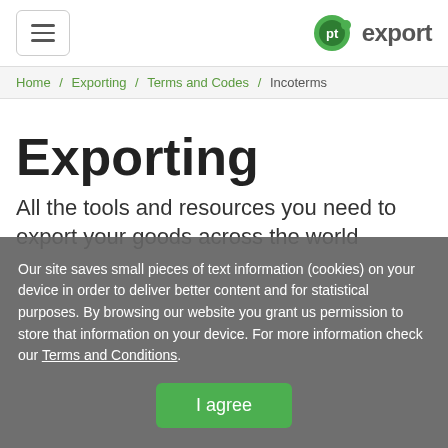pt.export (logo with hamburger menu)
Home / Exporting / Terms and Codes / Incoterms
Exporting
All the tools and resources you need to export your goods across the world
Our site saves small pieces of text information (cookies) on your device in order to deliver better content and for statistical purposes. By browsing our website you grant us permission to store that information on your device. For more information check our Terms and Conditions.
I agree